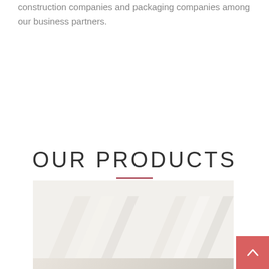construction companies and packaging companies among our business partners.
OUR PRODUCTS
[Figure (photo): Photo of white foam or paper board sheets arranged diagonally, partially visible at the bottom of the page.]